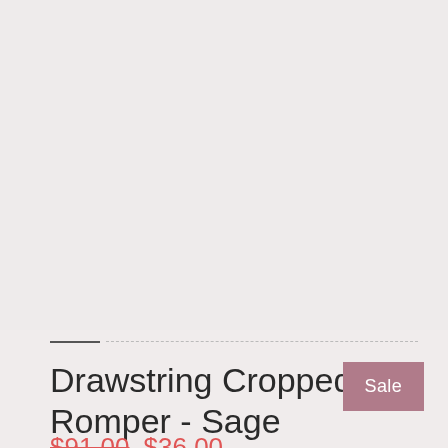[Figure (photo): Product image area — light pinkish-grey background, no visible product image]
Drawstring Cropped Romper - Sage
Sale
$91.00  $36.00